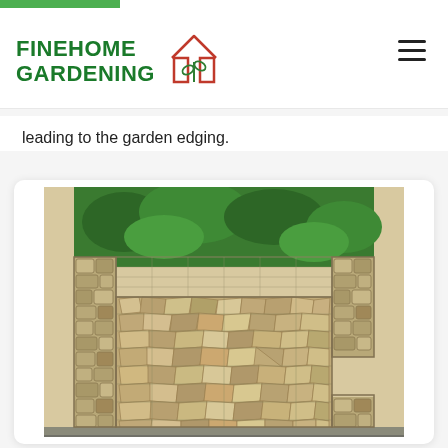FINEHOME GARDENING
leading to the garden edging.
[Figure (photo): A gabion wall filled with rocks/stones, with green shrubbery visible above it. The wall has vertical metal mesh columns and horizontal sections filled with pale sandy-colored rocks.]